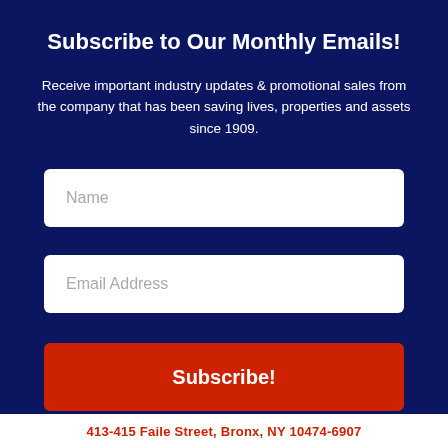Subscribe to Our Monthly Emails!
Receive important industry updates & promotional sales from the company that has been saving lives, properties and assets since 1909.
Name
Email Address
Subscribe!
413-415 Faile Street, Bronx, NY 10474-6907